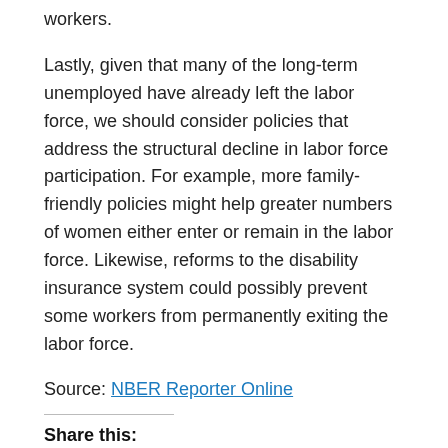workers.
Lastly, given that many of the long-term unemployed have already left the labor force, we should consider policies that address the structural decline in labor force participation. For example, more family-friendly policies might help greater numbers of women either enter or remain in the labor force. Likewise, reforms to the disability insurance system could possibly prevent some workers from permanently exiting the labor force.
Source: NBER Reporter Online
Share this:
[Figure (infographic): Three circular social media share buttons: Twitter (blue bird icon), Facebook (blue f icon), LinkedIn (blue in icon)]